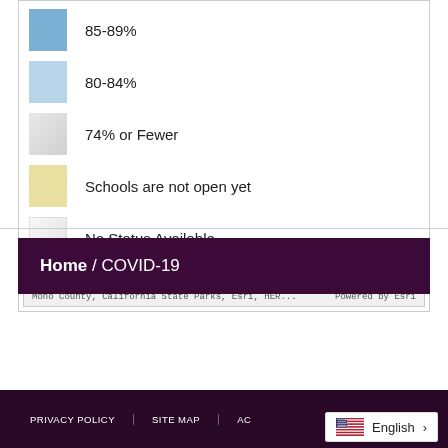[Figure (other): Map legend showing color swatches and labels: 85-89% (medium blue), 80-84% (light blue), 74% or Fewer (light gray), Schools are not open yet (light yellow/tan), No Status Available (white/outline). Bottom bar shows attribution: Mono County, California State Parks, Esri, HER... | Powered by Esri]
80-84%
74% or Fewer
Schools are not open yet
No Status Available
Mono County, California State Parks, Esri, HER...    Powered by Esri
Home / COVID-19
PRIVACY POLICY | SITE MAP | AC... | English >